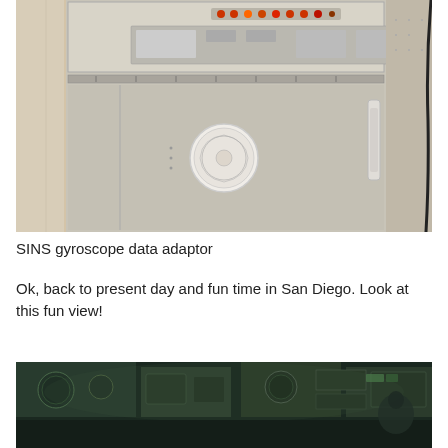[Figure (photo): Photograph of a SINS gyroscope data adaptor — a large beige/grey metal cabinet with control panels at the top containing switches, dials, and indicators, a round circular emblem/sticker in the center of the cabinet door, and a chrome handle on the right side. The equipment appears to be vintage military or naval navigation hardware.]
SINS gyroscope data adaptor
Ok, back to present day and fun time in San Diego. Look at this fun view!
[Figure (photo): Photograph showing the interior view of what appears to be a submarine or naval vessel control room, with a green tinted image showing control panels, instruments, gauges, and equipment. The image is dark with greenish hues.]